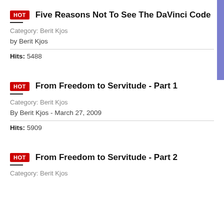Five Reasons Not To See The DaVinci Code
Category: Berit Kjos
by Berit Kjos
Hits: 5488
From Freedom to Servitude - Part 1
Category: Berit Kjos
By Berit Kjos - March 27, 2009
Hits: 5909
From Freedom to Servitude - Part 2
Category: Berit Kjos